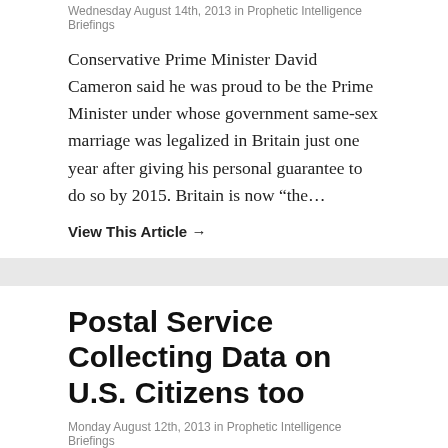Wednesday August 14th, 2013 in Prophetic Intelligence Briefings
Conservative Prime Minister David Cameron said he was proud to be the Prime Minister under whose government same-sex marriage was legalized in Britain just one year after giving his personal guarantee to do so by 2015. Britain is now “the…
View This Article →
Postal Service Collecting Data on U.S. Citizens too
Monday August 12th, 2013 in Prophetic Intelligence Briefings
Many people have changed their relationship to the internet as a result of the revelations of NSA collection of U.S. citizen data by Edward Snowden. Some have even come under scrutiny for innocent Google searches or PayPal transactions, which has…